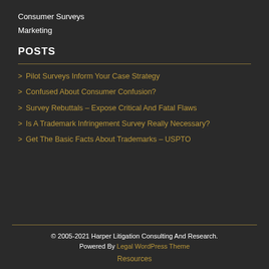Consumer Surveys
Marketing
POSTS
> Pilot Surveys Inform Your Case Strategy
> Confused About Consumer Confusion?
> Survey Rebuttals – Expose Critical And Fatal Flaws
> Is A Trademark Infringement Survey Really Necessary?
> Get The Basic Facts About Trademarks – USPTO
© 2005-2021 Harper Litigation Consulting And Research. Powered By Legal WordPress Theme
Resources